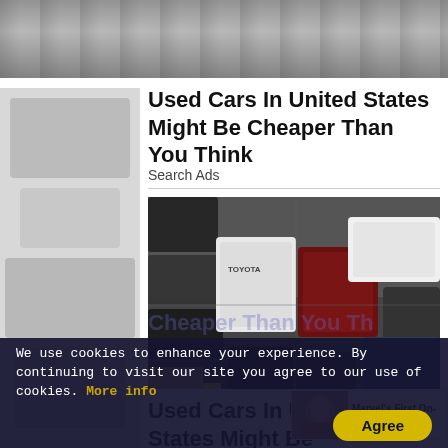[Figure (photo): Aerial view of parked cars on a lot, partial top image]
Used Cars In United States Might Be Cheaper Than You Think
Search Ads
[Figure (photo): Aerial view of a crowded used car lot with various SUVs and sedans, including a white Toyota]
Used Cars In United States Might Be Cheaper Than You Th
[Figure (photo): Small popup thumbnail showing a person, with text Marvel's First On-scr]
We use cookies to enhance your experience. By continuing to visit our site you agree to our use of cookies. More info
Agree